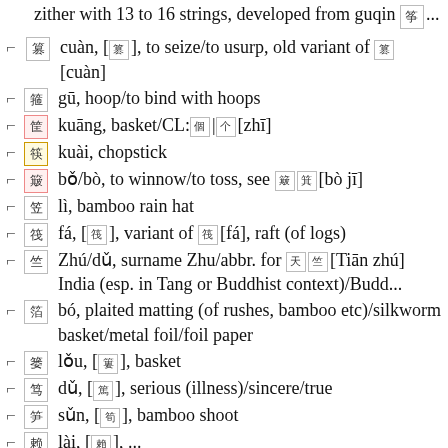zither with 13 to 16 strings, developed from guqin 🀄...
□ cuàn, [□], to seize/to usurp, old variant of □[cuàn]
□ gū, hoop/to bind with hoops
□ kuāng, basket/CL:□|□[zhī]
□ kuài, chopstick
□ bǒ/bò, to winnow/to toss, see □□[bò jī]
□ lì, bamboo rain hat
□ fá, [□], variant of □[fá], raft (of logs)
□ Zhú/dǔ, surname Zhu/abbr. for □□[Tiān zhú] India (esp. in Tang or Buddhist context)/Budd...
□ bó, plaited matting (of rushes, bamboo etc)/silkworm basket/metal foil/foil paper
□ lǒu, [□], basket
□ dǔ, [□], serious (illness)/sincere/true
□ sǔn, [□], bamboo shoot
□ lài, [□], ...